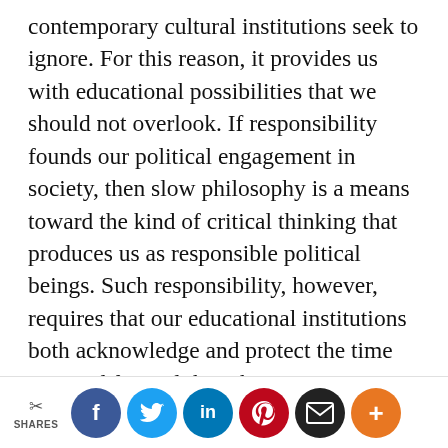contemporary cultural institutions seek to ignore. For this reason, it provides us with educational possibilities that we should not overlook. If responsibility founds our political engagement in society, then slow philosophy is a means toward the kind of critical thinking that produces us as responsible political beings. Such responsibility, however, requires that our educational institutions both acknowledge and protect the time required for real thought to emerge. In an age of productivity and efficiency narrowly defined, this is increasingly less likely to
SHARES | Facebook | Twitter | LinkedIn | Pinterest | Email | More